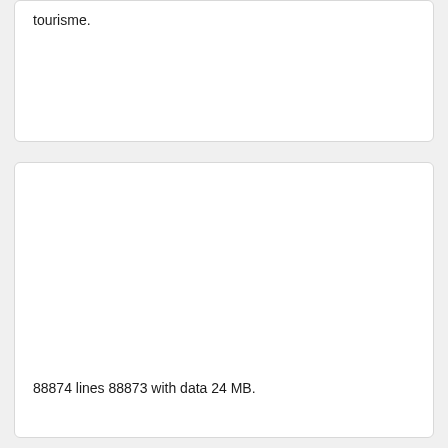tourisme.
88874 lines 88873 with data 24 MB.